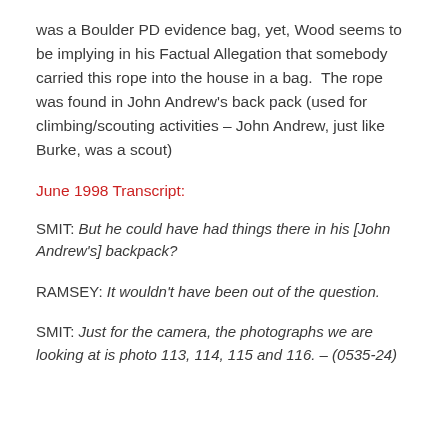was a Boulder PD evidence bag, yet, Wood seems to be implying in his Factual Allegation that somebody carried this rope into the house in a bag.  The rope was found in John Andrew's back pack (used for climbing/scouting activities – John Andrew, just like Burke, was a scout)
June 1998 Transcript:
SMIT: But he could have had things there in his [John Andrew's] backpack?
RAMSEY: It wouldn't have been out of the question.
SMIT: Just for the camera, the photographs we are looking at is photo 113, 114, 115 and 116. – (0535-24)